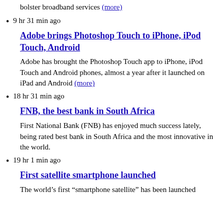bolster broadband services (more)
9 hr 31 min ago
Adobe brings Photoshop Touch to iPhone, iPod Touch, Android
Adobe has brought the Photoshop Touch app to iPhone, iPod Touch and Android phones, almost a year after it launched on iPad and Android (more)
18 hr 31 min ago
FNB, the best bank in South Africa
First National Bank (FNB) has enjoyed much success lately, being rated best bank in South Africa and the most innovative in the world.
19 hr 1 min ago
First satellite smartphone launched
The world’s first “smartphone satellite” has been launched into space and it will orbit the Earth for the next six months.